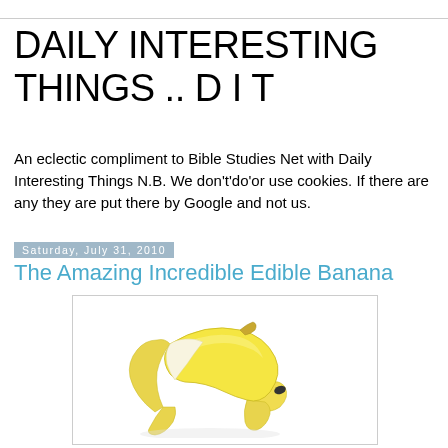DAILY INTERESTING THINGS .. D I T
An eclectic compliment to Bible Studies Net with Daily Interesting Things N.B. We don't'do'or use cookies. If there are any they are put there by Google and not us.
Saturday, July 31, 2010
The Amazing Incredible Edible Banana
[Figure (photo): A peeled banana with the skin folded back, shown on a white background inside a bordered rectangle.]